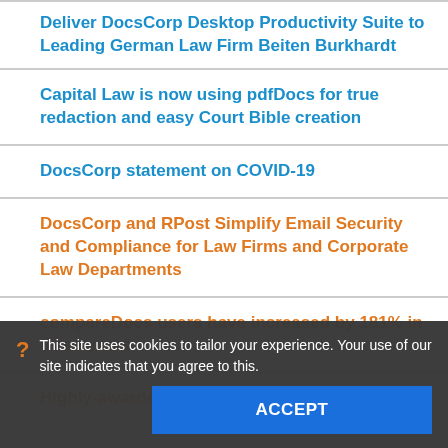Deliver DocsCorp Desktop Productivity Suite to Leading German Law Firm Beiten Burkhardt
Capital Law is now using pdfDocs for true redaction and easy Court Bible creation
DocsCorp statement on COVID-19
DocsCorp and RPost Simplify Email Security and Compliance for Law Firms and Corporate Law Departments
compareDocs users have increased by 181% in three years
Highly-awarded LA law firm Glaser Weil will
This site uses cookies to tailor your experience. Your use of our site indicates that you agree to this.